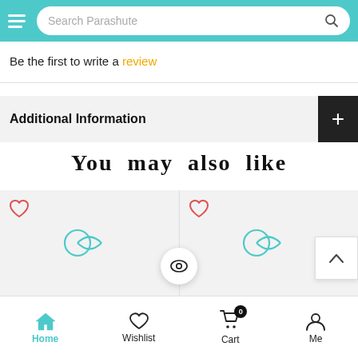Search Parashute
Be the first to write a review
Additional Information
You may also like
[Figure (screenshot): Product cards row showing two product placeholders with red heart/wishlist icons and teal Parashute logo marks, a circular eye/quick-view button in the center, and a scroll-to-top arrow button on the right]
Home | Wishlist | Cart 0 | Me